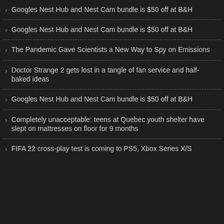Googles Nest Hub and Nest Cam bundle is $50 off at B&H
Googles Nest Hub and Nest Cam bundle is $50 off at B&H
The Pandemic Gave Scientists a New Way to Spy on Emissions
Doctor Strange 2 gets lost in a tangle of fan service and half-baked ideas
Googles Nest Hub and Nest Cam bundle is $50 off at B&H
Completely unacceptable: teens at Quebec youth shelter have slept on mattresses on floor for 9 months
FIFA 22 cross-play test is coming to PS5, Xbox Series X/S